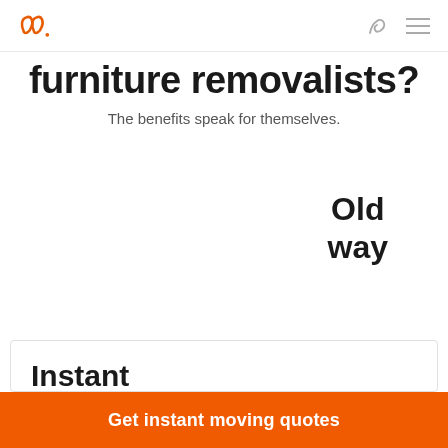Logo | phone | menu
furniture removalists?
The benefits speak for themselves.
Old way
Instant pricing
Our platform
Get instant moving quotes